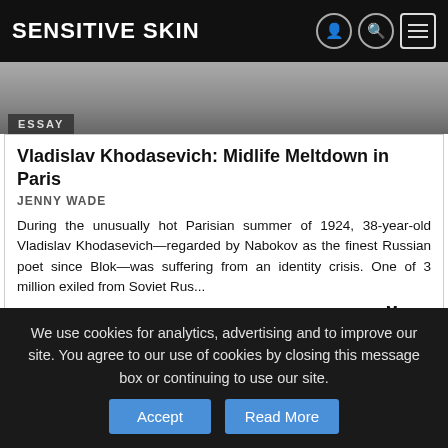SENSITIVE SKIN
[Figure (photo): Grayscale photo strip showing a person, with ESSAY badge overlay]
Vladislav Khodasevich: Midlife Meltdown in Paris
JENNY WADE
During the unusually hot Parisian summer of 1924, 38-year-old Vladislav Khodasevich—regarded by Nabokov as the finest Russian poet since Blok—was suffering from an identity crisis. One of 3 million exiled from Soviet Rus...
More...
[Figure (photo): Grayscale photo of a person with curly hair]
We use cookies for analytics, advertising and to improve our site. You agree to our use of cookies by closing this message box or continuing to use our site.